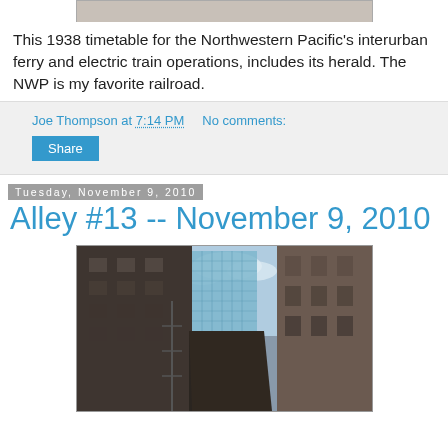[Figure (photo): Top portion of a photo showing a timetable cover, partially visible at top of page]
This 1938 timetable for the Northwestern Pacific's interurban ferry and electric train operations, includes its herald. The NWP is my favorite railroad.
Joe Thompson at 7:14 PM   No comments:
Share
Tuesday, November 9, 2010
Alley #13 -- November 9, 2010
[Figure (photo): Photograph looking up a narrow urban alley between tall dark brick buildings, with a modern glass skyscraper visible in the background center, sky with clouds above]